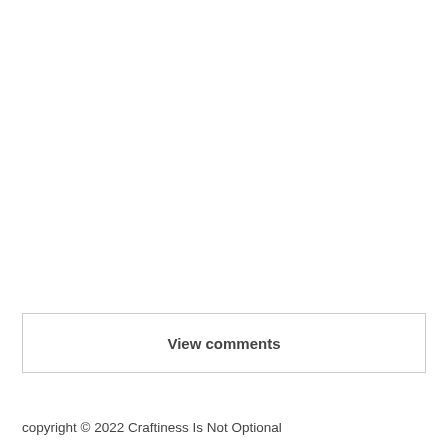View comments
Home
copyright © 2022 Craftiness Is Not Optional